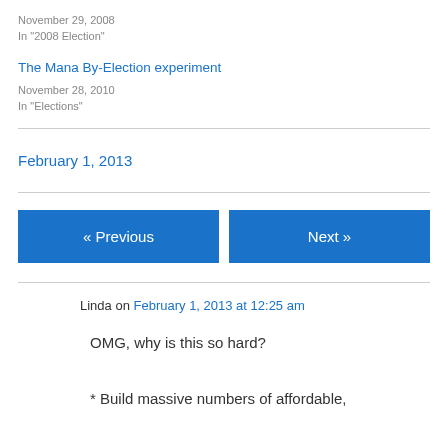November 29, 2008
In "2008 Election"
The Mana By-Election experiment
November 28, 2010
In "Elections"
February 1, 2013
« Previous
Next »
Linda on February 1, 2013 at 12:25 am
OMG, why is this so hard?
* Build massive numbers of affordable,